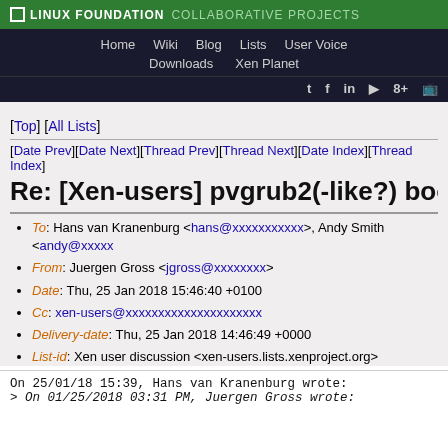LINUX FOUNDATION COLLABORATIVE PROJECTS
Home | Wiki | Blog | Lists | User Voice | Downloads | Xen Planet
[Top] [All Lists]
[Date Prev][Date Next][Thread Prev][Thread Next][Date Index][Thread Index]
Re: [Xen-users] pvgrub2(-like?) booting
To: Hans van Kranenburg <hans@xxxxxxxxxxx>, Andy Smith <andy@xxxxx
From: Juergen Gross <jgross@xxxxxxxx>
Date: Thu, 25 Jan 2018 15:46:40 +0100
Cc: xen-users@xxxxxxxxxxxxxxxxxxxxx
Delivery-date: Thu, 25 Jan 2018 14:46:49 +0000
List-id: Xen user discussion <xen-users.lists.xenproject.org>
On 25/01/18 15:39, Hans van Kranenburg wrote:
> On 01/25/2018 03:31 PM, Juergen Gross wrote: